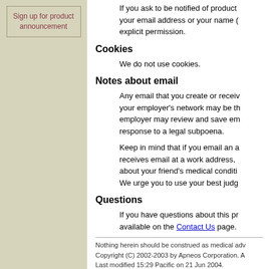Sign up for product announcement
If you ask to be notified of product your email address or your name ( explicit permission.
Cookies
We do not use cookies.
Notes about email
Any email that you create or receive your employer's network may be th employer may review and save em response to a legal subpoena.
Keep in mind that if you email an a receives email at a work address, about your friend's medical conditi We urge you to use your best judg
Questions
If you have questions about this pr available on the Contact Us page.
Nothing herein should be construed as medical adv Copyright (C) 2002-2003 by Apneos Corporation. A Last modified 15:29 Pacific on 21 Jun 2004.